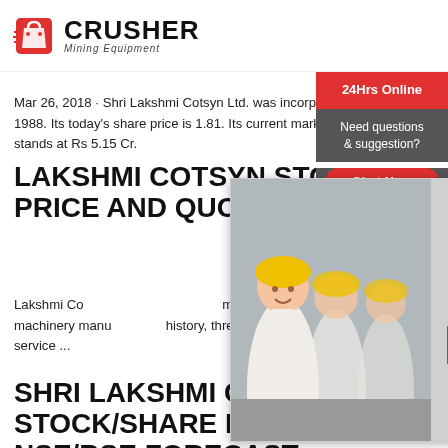CRUSHER Mining Equipment
Mar 26, 2018 · Shri Lakshmi Cotsyn Ltd. was incorporated in the year 1988. Its today's share price is 1.81. Its current market capitalisation stands at Rs 5.15 Cr.
LAKSHMI COTSYN STOCK PRICE AND QUOTES
Lakshmi Co... mainly prod... equipment, ... equipment, ... equipment. 40 years of mining machinery manu... history, three production bases, exported to mo... countries and regions, We are your trusted part... service ...
[Figure (screenshot): Live chat popup with workers in hard hats on left, LIVE CHAT title, Click for a Free Consultation, Chat now and Chat later buttons, and customer service agent on right]
[Figure (infographic): Right sidebar with 24Hrs Online label, Need questions & suggestion?, Chat Now button, Enquiry, limingjlmofen@sina.com]
SHRI LAKSHMI COTSYN STOCK/SHARE PRICE , NSE/BSE FORECAST